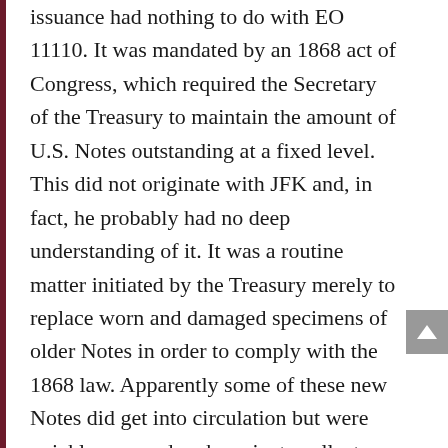issuance had nothing to do with EO 11110. It was mandated by an 1868 act of Congress, which required the Secretary of the Treasury to maintain the amount of U.S. Notes outstanding at a fixed level. This did not originate with JFK and, in fact, he probably had no deep understanding of it. It was a routine matter initiated by the Treasury merely to replace worn and damaged specimens of older Notes in order to comply with the 1868 law. Apparently some of these new Notes did get into circulation but were quickly snapped up by private collectors. They never became a significant part of the money supply